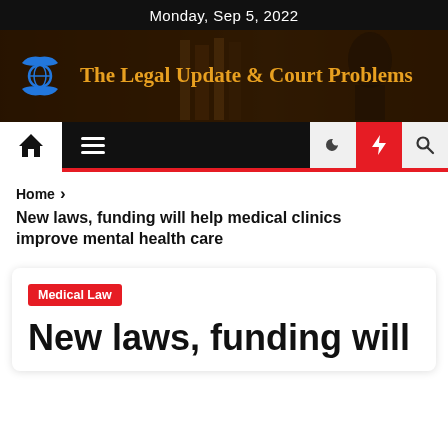Monday, Sep 5, 2022
[Figure (logo): The Legal Update & Court Problems website banner with globe/hands logo and Lady Justice background image]
Home | menu | moon | flash | search navigation bar
Home > New laws, funding will help medical clinics improve mental health care
Medical Law
New laws, funding will